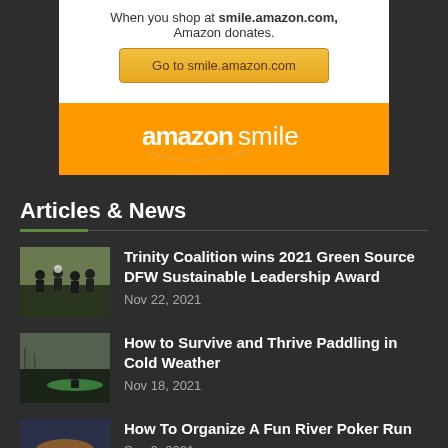[Figure (illustration): AmazonSmile promotional banner showing text 'When you shop at smile.amazon.com, Amazon donates.' with a button 'Go to smile.amazon.com' and the amazonsmile logo with orange background]
Articles & News
[Figure (photo): Thumbnail photo of a group of people outdoors, related to Trinity Coalition Green Source DFW award]
Trinity Coalition wins 2021 Green Source DFW Sustainable Leadership Award
Nov 22, 2021
[Figure (photo): Thumbnail photo of a canoe on a cold weather river scene]
How to Survive and Thrive Paddling in Cold Weather
Nov 18, 2021
[Figure (photo): Thumbnail photo of a river at sunset with a kayak silhouette]
How To Organize A Fun River Poker Run
Sep 9, 2021